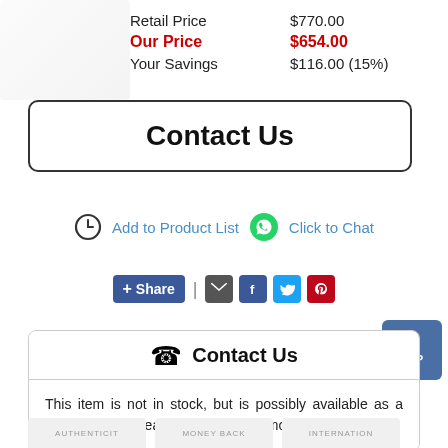Retail Price    $770.00
Our Price    $654.00
Your Savings    $116.00 (15%)
Contact Us
Add to Product List   Click to Chat
+ Share | email facebook twitter pinterest
TOP
Contact Us
This item is not in stock, but is possibly available as a special order. Please contact us for more information.